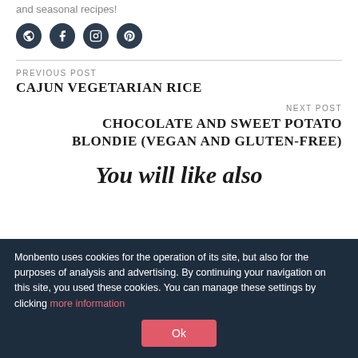and seasonal recipes!
[Figure (other): Four social media icon buttons: globe/website, Facebook, Instagram, Pinterest — dark navy circular icons]
PREVIOUS POST
CAJUN VEGETARIAN RICE
NEXT POST
CHOCOLATE AND SWEET POTATO BLONDIE (VEGAN AND GLUTEN-FREE)
You will like also
Monbento uses cookies for the operation of its site, but also for the purposes of analysis and advertising. By continuing your navigation on this site, you used these cookies. You can manage these settings by clicking more information